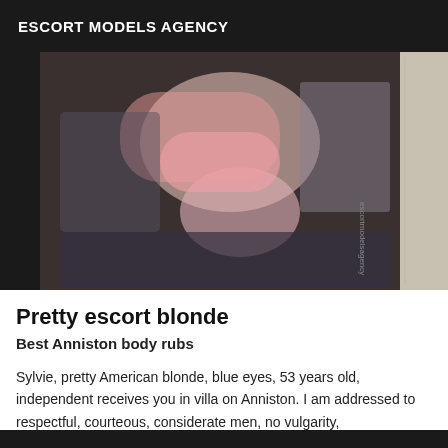ESCORT MODELS AGENCY
[Figure (photo): Blurry photo of a person lying on a bed, image appears upside-down, pink clothing visible, dark patterned bedding, white wall/door in background]
Pretty escort blonde
Best Anniston body rubs
Sylvie, pretty American blonde, blue eyes, 53 years old, independent receives you in villa on Anniston. I am addressed to respectful, courteous, considerate men, no vulgarity, irreproachable hygiene requested.